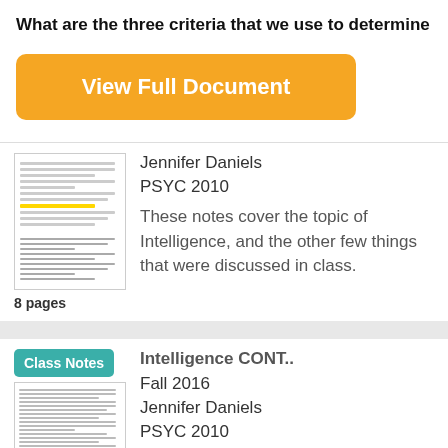What are the three criteria that we use to determine
[Figure (other): Orange 'View Full Document' button]
Jennifer Daniels
PSYC 2010
These notes cover the topic of Intelligence, and the other few things that were discussed in class.
8 pages
Intelligence CONT..
Fall 2016
Jennifer Daniels
PSYC 2010
Lecture on 9/30/16